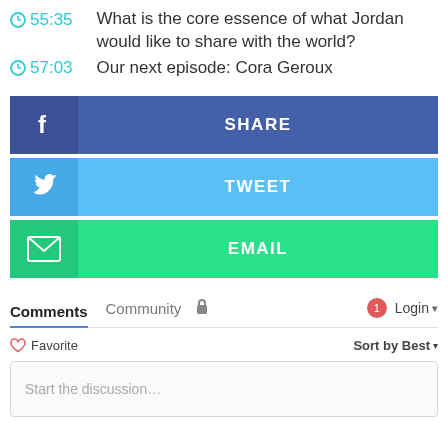55:35  What is the core essence of what Jordan would like to share with the world?
57:03  Our next episode: Cora Geroux
[Figure (screenshot): Facebook SHARE button - dark blue with Facebook icon on left]
[Figure (screenshot): Twitter TWEET button - light blue with Twitter bird icon on left]
[Figure (screenshot): Email EMAIL button - green with envelope icon on left]
Comments  Community  🔒  1  Login
♡ Favorite    Sort by Best ▾
Start the discussion...